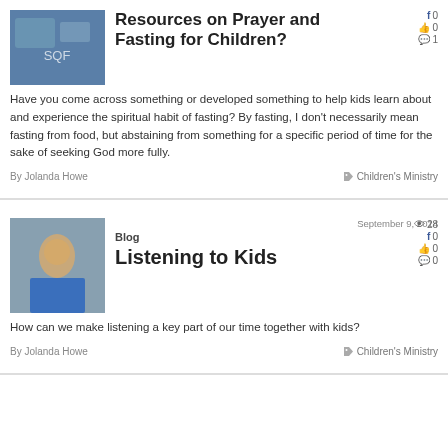Resources on Prayer and Fasting for Children?
Have you come across something or developed something to help kids learn about and experience the spiritual habit of fasting? By fasting, I don't necessarily mean fasting from food, but abstaining from something for a specific period of time for the sake of seeking God more fully.
By Jolanda Howe
Children's Ministry
Blog  September 9, 2014
Listening to Kids
28 views, 0 facebook, 0 likes, 0 comments
How can we make listening a key part of our time together with kids?
By Jolanda Howe
Children's Ministry